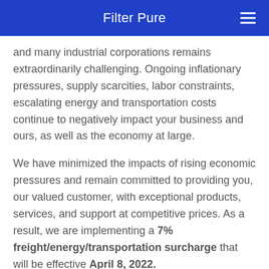Filter Pure
and many industrial corporations remains extraordinarily challenging. Ongoing inflationary pressures, supply scarcities, labor constraints, escalating energy and transportation costs continue to negatively impact your business and ours, as well as the economy at large.
We have minimized the impacts of rising economic pressures and remain committed to providing you, our valued customer, with exceptional products, services, and support at competitive prices. As a result, we are implementing a 7% freight/energy/transportation surcharge that will be effective April 8, 2022.
This surcharge will appear as a single line item at th…